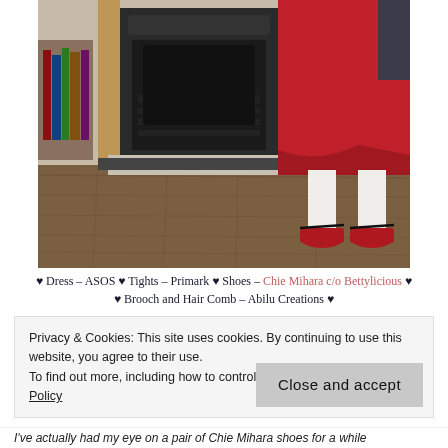[Figure (photo): Person wearing a red dress and red Mary Jane shoes with white socks, standing in front of a Victorian cast iron fireplace with wooden surround on wooden floorboards. Bookshelves visible on the left.]
♥ Dress – ASOS ♥ Tights – Primark ♥ Shoes – Chie Mihara c/o Bettylicious ♥ ♥ Brooch and Hair Comb – Abilu Creations ♥
Privacy & Cookies: This site uses cookies. By continuing to use this website, you agree to their use.
To find out more, including how to control cookies, see here: Cookie Policy
Close and accept
I've actually had my eye on a pair of Chie Mihara shoes for a while